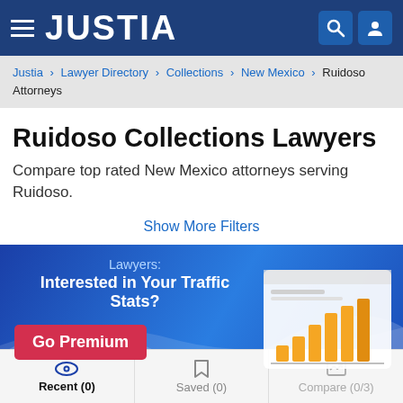JUSTIA
Justia › Lawyer Directory › Collections › New Mexico › Ruidoso Attorneys
Ruidoso Collections Lawyers
Compare top rated New Mexico attorneys serving Ruidoso.
Show More Filters
[Figure (screenshot): Justia promotional banner: Lawyers: Interested in Your Traffic Stats? Go Premium button with bar chart illustration on blue gradient background]
Recent (0)   Saved (0)   Compare (0/3)